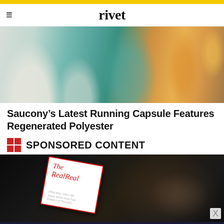rivet
[Figure (photo): Photo of runners wearing athletic gear — white leggings, teal top, orange/yellow outfit — running outdoors]
Saucony’s Latest Running Capsule Features Regenerated Polyester
SPONSORED CONTENT
[Figure (photo): Close-up photo of a The RealReal brand tag on clothing against a dark background with leopard print fabric]
[Figure (logo): Thermore INSULATION EXPERTS SINCE 1972 | EVOdown FULLY RECYCLED advertisement banner on dark navy background]